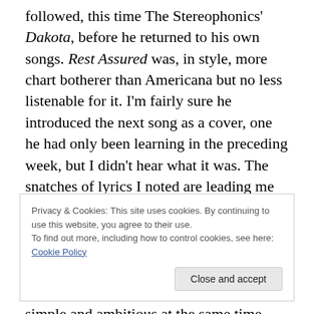followed, this time The Stereophonics' Dakota, before he returned to his own songs. Rest Assured was, in style, more chart botherer than Americana but no less listenable for it. I'm fairly sure he introduced the next song as a cover, one he had only been learning in the preceding week, but I didn't hear what it was. The snatches of lyrics I noted are leading me towards Ben Howard's Keep Your Head Up, but I'm not as certain of that as I am that, whatever it was, it was sung beautifully. This set finished with Zac's newest song – Sunshine – which was both simple and ambitious at the same time, lovely overall and
Privacy & Cookies: This site uses cookies. By continuing to use this website, you agree to their use.
To find out more, including how to control cookies, see here: Cookie Policy